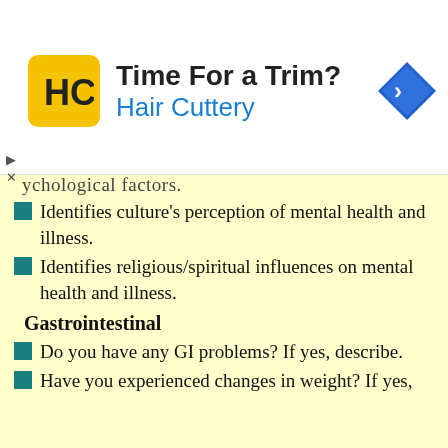[Figure (logo): Hair Cuttery advertisement banner with HC logo, 'Time For a Trim?' heading, and a blue navigation arrow icon]
Identifies culture's perception of mental health and illness.
Identifies religious/spiritual influences on mental health and illness.
Gastrointestinal
Do you have any GI problems? If yes, describe.
Have you experienced changes in weight? If yes,